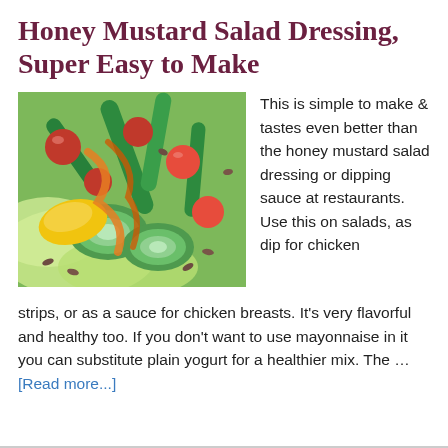Honey Mustard Salad Dressing, Super Easy to Make
[Figure (photo): Close-up photo of a colorful salad with cherry tomatoes, green snap peas, cucumber slices, yellow bell pepper, lettuce, sunflower seeds, and honey mustard dressing drizzled on top.]
This is simple to make & tastes even better than the honey mustard salad dressing or dipping sauce at restaurants. Use this on salads, as dip for chicken strips, or as a sauce for chicken breasts. It's very flavorful and healthy too. If you don't want to use mayonnaise in it you can substitute plain yogurt for a healthier mix. The … [Read more...]